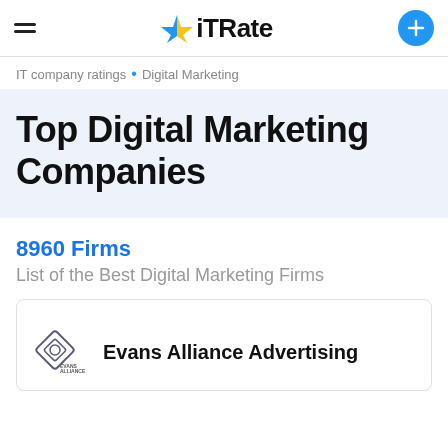iTRate
IT company ratings • Digital Marketing
Top Digital Marketing Companies
8960 Firms
List of the Best Digital Marketing Firms
Evans Alliance Advertising